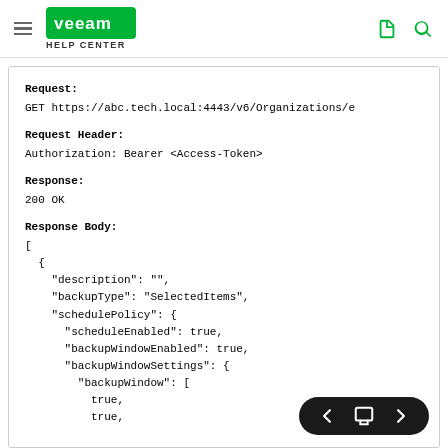Veeam Help Center
Request:
GET https://abc.tech.local:4443/v6/Organizations/e

Request Header:
Authorization: Bearer <Access-Token>

Response:
200 OK

Response Body:
[
  {
    "description": "",
    "backupType": "SelectedItems",
    "schedulePolicy": {
      "scheduleEnabled": true,
      "backupWindowEnabled": true,
      "backupWindowSettings": {
        "backupWindow": [
          true,
          true,